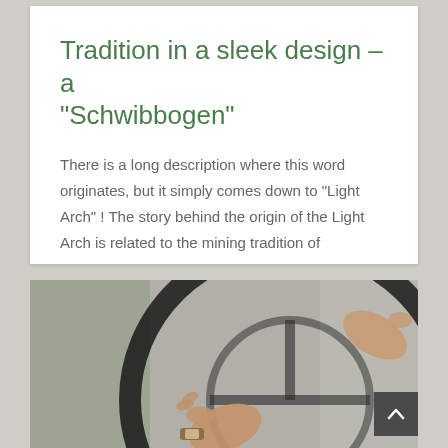Tradition in a sleek design – a “Schwibbogen”
There is a long description where this word originates, but it simply comes down to “Light Arch” ! The story behind the origin of the Light Arch is related to the mining tradition of
[Figure (photo): Close-up photo of a person's hands gripping a steering wheel, with a wristwatch visible on one hand. The image is slightly blurred/bokeh background.]